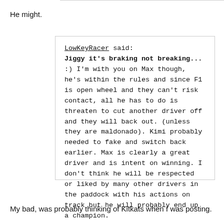He might.
LowKeyRacer said:
Jiggy it's braking not breaking... :) I'm with you on Max though, he's within the rules and since F1 is open wheel and they can't risk contact, all he has to do is threaten to cut another driver off and they will back out. (unless they are maldonado). Kimi probably needed to fake and switch back earlier. Max is clearly a great driver and is intent on winning. I don't think he will be respected or liked by many other drivers in the paddock with his actions on track but he will probably end up a champion.
My bad, was probably thinking of Kitkats when I was posting.